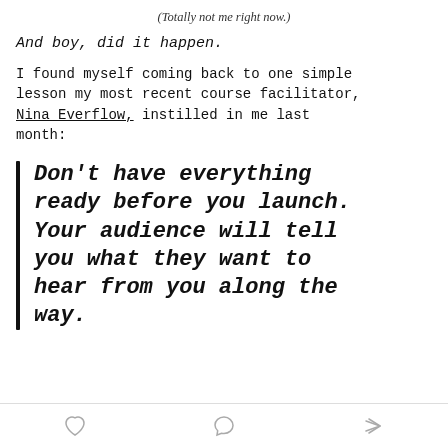(Totally not me right now.)
And boy, did it happen.
I found myself coming back to one simple lesson my most recent course facilitator, Nina Everflow, instilled in me last month:
Don't have everything ready before you launch. Your audience will tell you what they want to hear from you along the way.
[heart icon] [comment icon] [share icon]